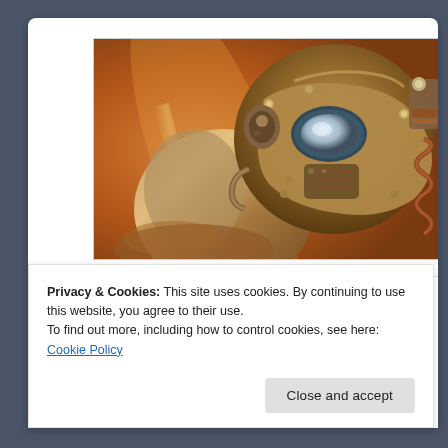[Figure (photo): Close-up photo of a metallic sci-fi robot/power armor helmet with copper/bronze tones, resembling Fallout-style power armor. Orange and brown warm tones dominate the image.]
Toy Reviews    The Workshop    Events and
Privacy & Cookies: This site uses cookies. By continuing to use this website, you agree to their use.
To find out more, including how to control cookies, see here: Cookie Policy
Close and accept